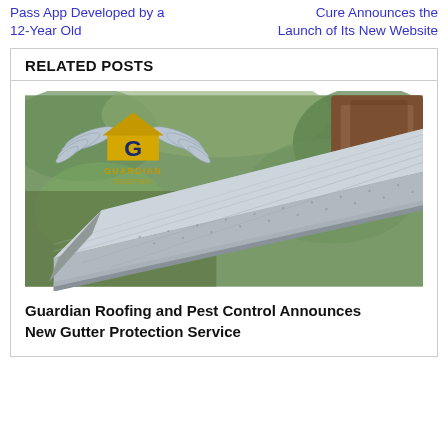Pass App Developed by a 12-Year Old
Cure Announces the Launch of Its New Website
RELATED POSTS
[Figure (photo): Close-up photo of a metal mesh gutter guard installed on a roof gutter, with a Guardian Roofing logo overlay in the top-left corner. Background shows blurred green foliage and a brown roof shingle visible at top right.]
Guardian Roofing and Pest Control Announces New Gutter Protection Service